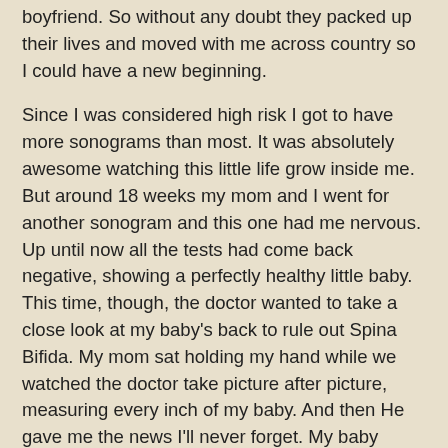boyfriend. So without any doubt they packed up their lives and moved with me across country so I could have a new beginning.
Since I was considered high risk I got to have more sonograms than most. It was absolutely awesome watching this little life grow inside me. But around 18 weeks my mom and I went for another sonogram and this one had me nervous. Up until now all the tests had come back negative, showing a perfectly healthy little baby. This time, though, the doctor wanted to take a close look at my baby's back to rule out Spina Bifida. My mom sat holding my hand while we watched the doctor take picture after picture, measuring every inch of my baby. And then He gave me the news I'll never forget. My baby looked perfect!
To celebrate, my mom and I went out and bought some clothes for my son. My son! I still couldn't believe that in just a few months I was going to have a little boy to hold. But as exciting as it was it all made me miss my first baby so much more. It was an actual physical pain. Mothers are put on this earth to protect their children and I never even gave my first a chance.